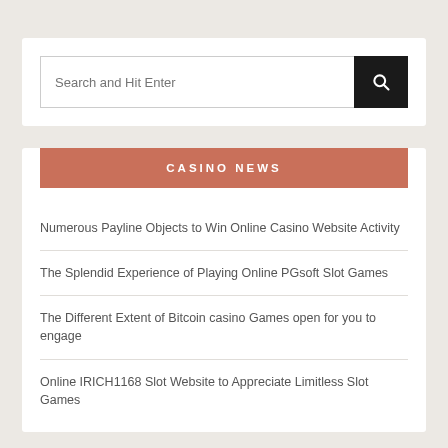Search and Hit Enter
CASINO NEWS
Numerous Payline Objects to Win Online Casino Website Activity
The Splendid Experience of Playing Online PGsoft Slot Games
The Different Extent of Bitcoin casino Games open for you to engage
Online IRICH1168 Slot Website to Appreciate Limitless Slot Games